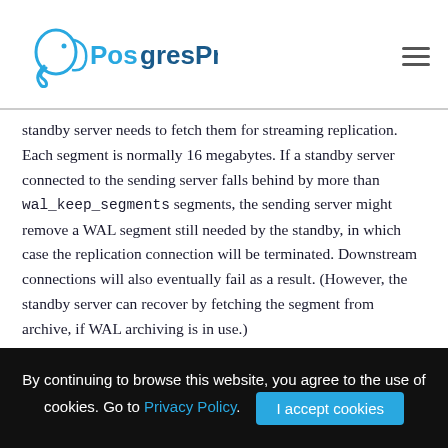PostgresPro
standby server needs to fetch them for streaming replication. Each segment is normally 16 megabytes. If a standby server connected to the sending server falls behind by more than wal_keep_segments segments, the sending server might remove a WAL segment still needed by the standby, in which case the replication connection will be terminated. Downstream connections will also eventually fail as a result. (However, the standby server can recover by fetching the segment from archive, if WAL archiving is in use.)
This sets only the minimum number of segments retained in pg_xlog; the system might need to retain
By continuing to browse this website, you agree to the use of cookies. Go to Privacy Policy. | I accept cookies